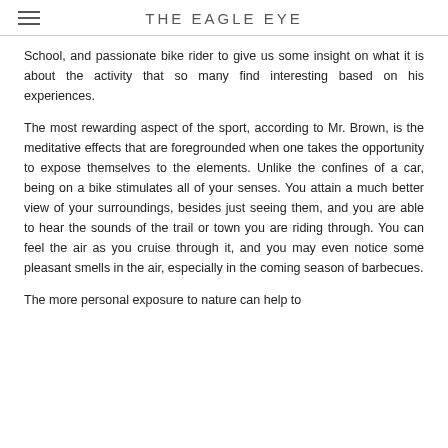THE EAGLE EYE
School, and passionate bike rider to give us some insight on what it is about the activity that so many find interesting based on his experiences.
The most rewarding aspect of the sport, according to Mr. Brown, is the meditative effects that are foregrounded when one takes the opportunity to expose themselves to the elements. Unlike the confines of a car, being on a bike stimulates all of your senses. You attain a much better view of your surroundings, besides just seeing them, and you are able to hear the sounds of the trail or town you are riding through. You can feel the air as you cruise through it, and you may even notice some pleasant smells in the air, especially in the coming season of barbecues.
The more personal exposure to nature can help to